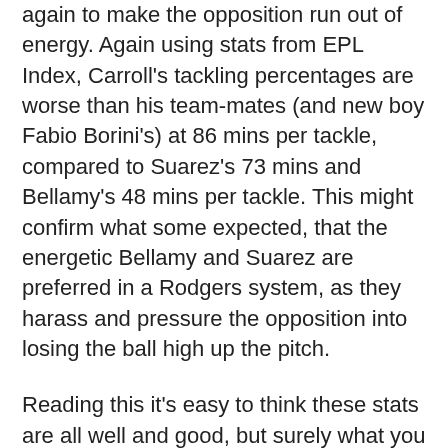again to make the opposition run out of energy. Again using stats from EPL Index, Carroll's tackling percentages are worse than his team-mates (and new boy Fabio Borini's) at 86 mins per tackle, compared to Suarez's 73 mins and Bellamy's 48 mins per tackle. This might confirm what some expected, that the energetic Bellamy and Suarez are preferred in a Rodgers system, as they harass and pressure the opposition into losing the ball high up the pitch.
Reading this it's easy to think these stats are all well and good, but surely what you want from a striker is to do one thing – score goals. A.C's chance conversion stats makes tough reading when you consider his £35million price tag (although the fee is hardly his own fault) at a measly 5.19%, with Suarez sitting on 10.2% and Bellamy on 19%. Of course